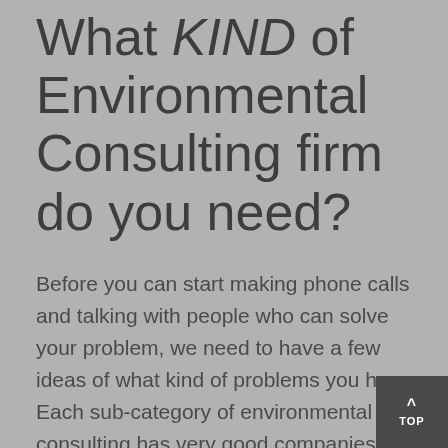What KIND of Environmental Consulting firm do you need?
Before you can start making phone calls and talking with people who can solve your problem, we need to have a few ideas of what kind of problems you have. Each sub-category of environmental consulting has very good companies servicing the niche. So let's discuss the niches so we send you in the right direction.